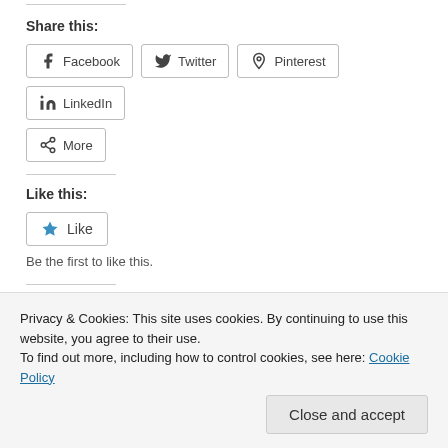Share this:
Facebook
Twitter
Pinterest
LinkedIn
More
Like this:
Like
Be the first to like this.
Related
[Figure (photo): Two related article thumbnail images]
Privacy & Cookies: This site uses cookies. By continuing to use this website, you agree to their use. To find out more, including how to control cookies, see here: Cookie Policy
Close and accept